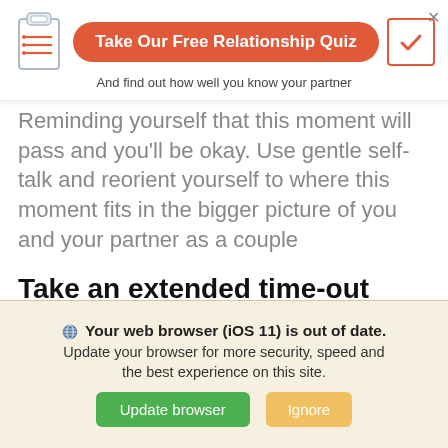[Figure (screenshot): Banner with clipboard icon, 'Take Our Free Relationship Quiz' button in red-orange rounded rectangle, checkmark box, close X, and subtitle 'And find out how well you know your partner']
Reminding yourself that this moment will pass and you'll be okay. Use gentle self-talk and reorient yourself to where this moment fits in the bigger picture of you and your partner as a couple
Take an extended time-out
Sometimes you can self-soothe or take a pause on the spot. At other times, you may need to take a break from the interaction. Make a plan with your partner that if either of you gets too activated in an argument, you will take a time-out. Agree to come
🌐 Your web browser (iOS 11) is out of date. Update your browser for more security, speed and the best experience on this site.